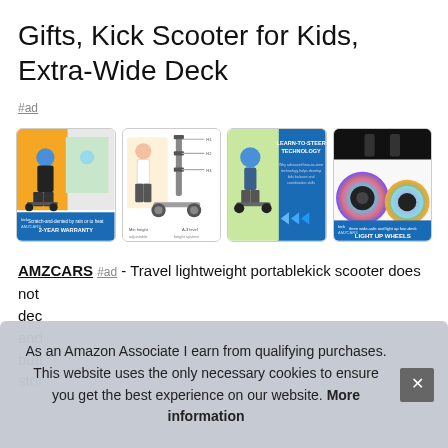Gifts, Kick Scooter for Kids, Extra-Wide Deck
#ad
[Figure (photo): Four product images of kick scooters for kids. First shows a child on a scooter with orange background and '2-YEAR WARRANTY' banner. Second shows scooter technical diagram with adjustable height. Third shows 'LEARN-TO-STEER TECHNOLOGY' with child on blue background. Fourth shows 'LIGHT UP WHEELS' with iridescent wheel close-up.]
AMZCARS #ad - Travel lightweight portablekick scooter does not dec and butt stor
As an Amazon Associate I earn from qualifying purchases. This website uses the only necessary cookies to ensure you get the best experience on our website. More information